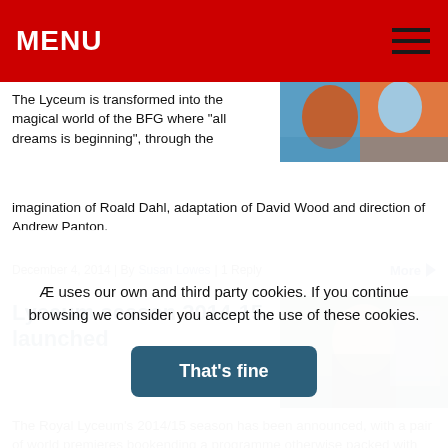MENU
The Lyceum is transformed into the magical world of the BFG where “all dreams is beginning”, through the imagination of Roald Dahl, adaptation of David Wood and direction of Andrew Panton.
[Figure (photo): Colorful theatrical image related to BFG production]
December 4, 2014 | By Susan Lowes | 1 Reply
More ►
[Figure (photo): Man in dark jacket holding papers, outdoors]
Lyceum season 2014-15 launched
The Royal Lyceum’s 2014/15 season has been announced, with a pair of world premieres bookending a programme otherwise packed with classic theatre.
Æ uses our own and third party cookies. If you continue browsing we consider you accept the use of these cookies.